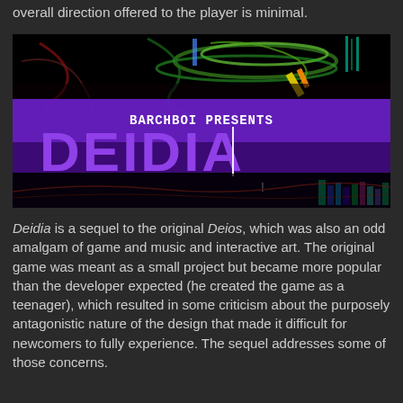overall direction offered to the player is minimal.
[Figure (screenshot): Game title screen for 'Deidia' by Barchboi. Dark background with colorful abstract art at the top, large purple stylized text 'DEIDIA' in the center, with 'BARCHBOI PRESENTS' above in white pixel font. Colorful vertical bars visible at bottom right.]
Deidia is a sequel to the original Deios, which was also an odd amalgam of game and music and interactive art. The original game was meant as a small project but became more popular than the developer expected (he created the game as a teenager), which resulted in some criticism about the purposely antagonistic nature of the design that made it difficult for newcomers to fully experience. The sequel addresses some of those concerns.